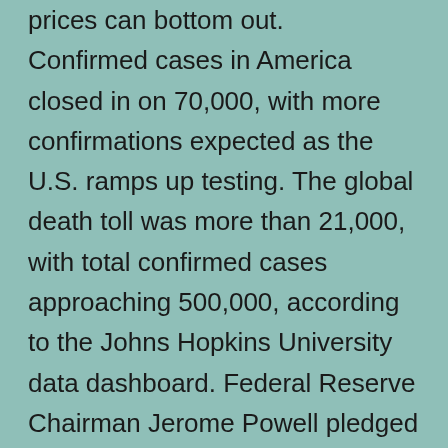prices can bottom out. Confirmed cases in America closed in on 70,000, with more confirmations expected as the U.S. ramps up testing. The global death toll was more than 21,000, with total confirmed cases approaching 500,000, according to the Johns Hopkins University data dashboard. Federal Reserve Chairman Jerome Powell pledged Thursday that the central bank will continue to provide capital to businesses to help combat the economic damage from the virus. “When it comes to this lending, we’re not going to run out of ammunition, that doesn’t happen,”